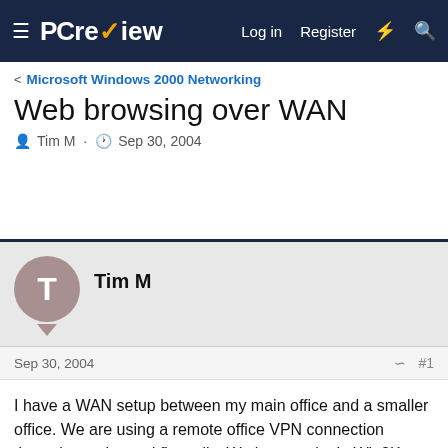PC review — Log in  Register
< Microsoft Windows 2000 Networking
Web browsing over WAN
Tim M · Sep 30, 2004
Tim M
Sep 30, 2004  #1
I have a WAN setup between my main office and a smaller office. We are using a remote office VPN connection through watchgaurd firewalls. We have a single Win2K